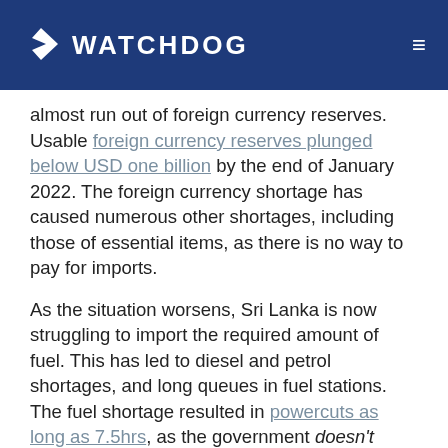WATCHDOG
almost run out of foreign currency reserves. Usable foreign currency reserves plunged below USD one billion by the end of January 2022. The foreign currency shortage has caused numerous other shortages, including those of essential items, as there is no way to pay for imports.
As the situation worsens, Sri Lanka is now struggling to import the required amount of fuel. This has led to diesel and petrol shortages, and long queues in fuel stations. The fuel shortage resulted in powercuts as long as 7.5hrs, as the government doesn't have enough fuel to operate thermal power plants. Foreign loans are now everybody's problem.
This is obviously a complex matter, so let's try